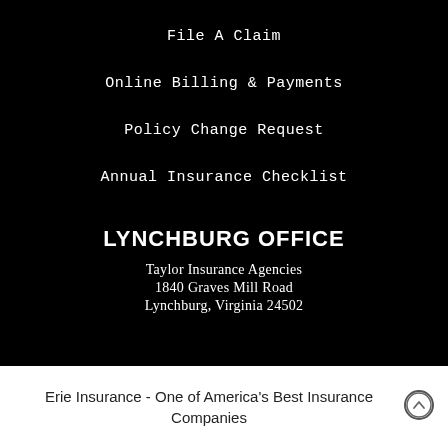File A Claim
Online Billing & Payments
Policy Change Request
Annual Insurance Checklist
LYNCHBURG OFFICE
Taylor Insurance Agencies
1840 Graves Mill Road
Lynchburg, Virginia 24502
Erie Insurance - One of America's Best Insurance Companies